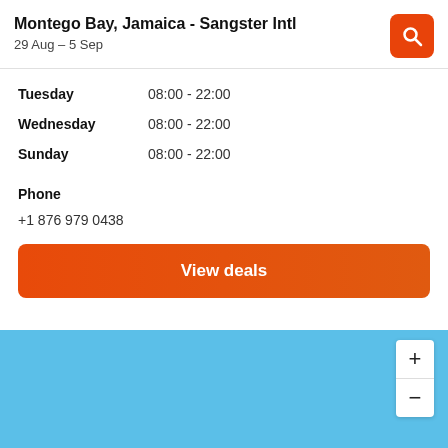Montego Bay, Jamaica - Sangster Intl
29 Aug – 5 Sep
| Day | Hours |
| --- | --- |
| Tuesday | 08:00 - 22:00 |
| Wednesday | 08:00 - 22:00 |
| Sunday | 08:00 - 22:00 |
Phone
+1 876 979 0438
View deals
[Figure (map): Light blue map area with zoom controls (+/-) in the bottom right corner]